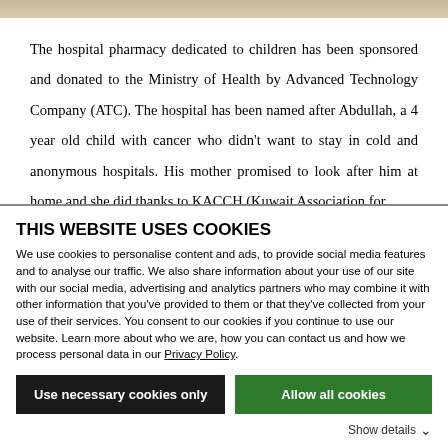[Figure (photo): Partial top edge of a photo strip, showing blurred/cropped image at the very top of the page]
The hospital pharmacy dedicated to children has been sponsored and donated to the Ministry of Health by Advanced Technology Company (ATC). The hospital has been named after Abdullah, a 4 year old child with cancer who didn't want to stay in cold and anonymous hospitals. His mother promised to look after him at home and she did thanks to KACCH (Kuwait Association for
THIS WEBSITE USES COOKIES
We use cookies to personalise content and ads, to provide social media features and to analyse our traffic. We also share information about your use of our site with our social media, advertising and analytics partners who may combine it with other information that you've provided to them or that they've collected from your use of their services. You consent to our cookies if you continue to use our website. Learn more about who we are, how you can contact us and how we process personal data in our Privacy Policy.
Use necessary cookies only
Allow all cookies
Show details